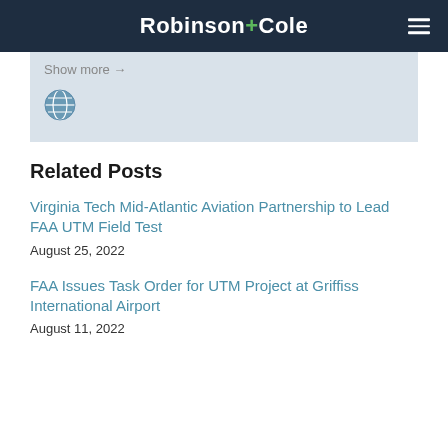Robinson+Cole
[Figure (screenshot): Gray box with 'Show more' text and a globe icon, partially visible UI element]
Related Posts
Virginia Tech Mid-Atlantic Aviation Partnership to Lead FAA UTM Field Test
August 25, 2022
FAA Issues Task Order for UTM Project at Griffiss International Airport
August 11, 2022